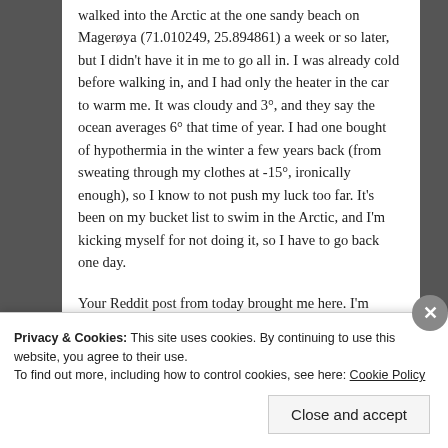walked into the Arctic at the one sandy beach on Magerøya (71.010249, 25.894861) a week or so later, but I didn't have it in me to go all in. I was already cold before walking in, and I had only the heater in the car to warm me. It was cloudy and 3°, and they say the ocean averages 6° that time of year. I had one bought of hypothermia in the winter a few years back (from sweating through my clothes at -15°, ironically enough), so I know to not push my luck too far. It's been on my bucket list to swim in the Arctic, and I'm kicking myself for not doing it, so I have to go back one day.

Your Reddit post from today brought me here. I'm really enjoying your site so far. It's inspiring.
Privacy & Cookies: This site uses cookies. By continuing to use this website, you agree to their use.
To find out more, including how to control cookies, see here: Cookie Policy
Close and accept